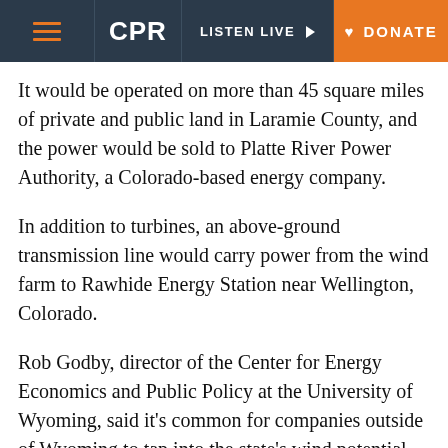CPR | LISTEN LIVE | DONATE
It would be operated on more than 45 square miles of private and public land in Laramie County, and the power would be sold to Platte River Power Authority, a Colorado-based energy company.
In addition to turbines, an above-ground transmission line would carry power from the wind farm to Rawhide Energy Station near Wellington, Colorado.
Rob Godby, director of the Center for Energy Economics and Public Policy at the University of Wyoming, said it's common for companies outside of Wyoming to tap into the state's wind potential.
"Wyoming has actually built its energy